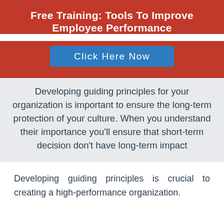Free Training: Tools To Improve Employee Performance
[Figure (other): Blue 'Click Here Now' button on red banner]
Developing guiding principles for your organization is important to ensure the long-term protection of your culture. When you understand their importance you'll ensure that short-term decision don't have long-term impact
Developing guiding principles is crucial to creating a high-performance organization.